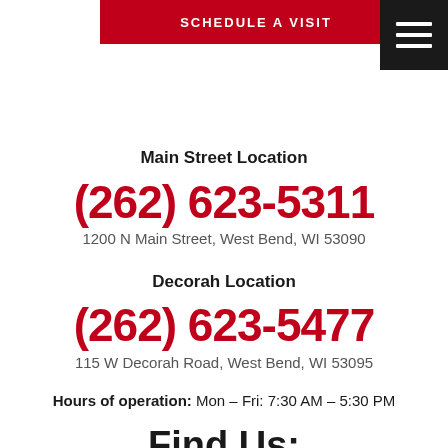[Figure (other): Red button with text SCHEDULE A VISIT and black hamburger menu icon in top right corner]
Main Street Location
(262) 623-5311
1200 N Main Street, West Bend, WI 53090
Decorah Location
(262) 623-5477
115 W Decorah Road, West Bend, WI 53095
Hours of operation: Mon – Fri: 7:30 AM – 5:30 PM
Find Us: